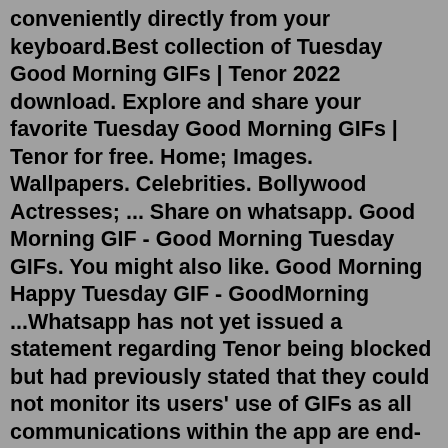conveniently directly from your keyboard.Best collection of Tuesday Good Morning GIFs | Tenor 2022 download. Explore and share your favorite Tuesday Good Morning GIFs | Tenor for free. Home; Images. Wallpapers. Celebrities. Bollywood Actresses; ... Share on whatsapp. Good Morning GIF - Good Morning Tuesday GIFs. You might also like. Good Morning Happy Tuesday GIF - GoodMorning ...Whatsapp has not yet issued a statement regarding Tenor being blocked but had previously stated that they could not monitor its users' use of GIFs as all communications within the app are end-to-end encrypted. Tenor Inc, one of the third parties, said it was attempting to release a "fix."Tenor's presence on LINE joins the inclusion of the same GIF search option in other chat apps like Facebook's Messenger, WhatsApp, and Kik, and it opens up users to tons of GIFs that can all ...With the Gif World you can get the gif you want. you can share or download them. Features: TREND. • everyday the trend module will update you on the gifs that are relevant like...